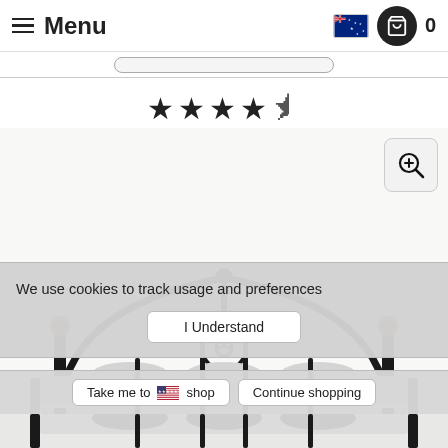≡ Menu
[Figure (screenshot): Star rating row showing 4.5 out of 5 stars (4 full stars and 1 half star)]
[Figure (photo): Product photo of a black metal ornate bed frame headboard, partially visible]
We use cookies to track usage and preferences
I Understand
Take me to 🇺🇸 shop   Continue shopping